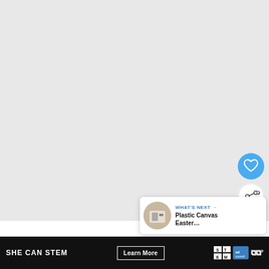[Figure (screenshot): Large light grey empty content area (video player or image placeholder) taking up most of the page]
[Figure (infographic): Blue circular heart/favorite FAB button and white circular share FAB button on right side]
[Figure (infographic): What's Next panel with thumbnail and text reading 'WHAT'S NEXT → Plastic Canvas Easter...']
If you are not adding lace now along the tr... ... with
[Figure (infographic): SHE CAN STEM advertisement bar with Learn More button, STEM logo, Ad Council logo, and Meredith logo on black background]